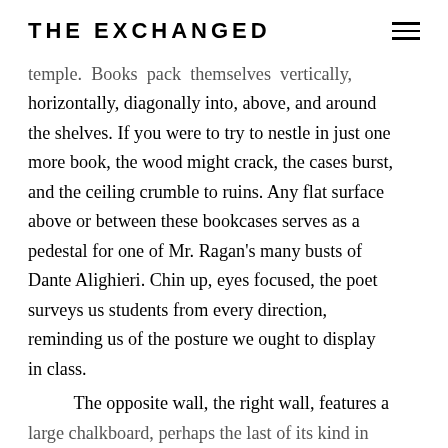THE EXCHANGED
temple. Books pack themselves vertically, horizontally, diagonally into, above, and around the shelves. If you were to try to nestle in just one more book, the wood might crack, the cases burst, and the ceiling crumble to ruins. Any flat surface above or between these bookcases serves as a pedestal for one of Mr. Ragan's many busts of Dante Alighieri. Chin up, eyes focused, the poet surveys us students from every direction, reminding us of the posture we ought to display in class.
The opposite wall, the right wall, features a large chalkboard, perhaps the last of its kind in